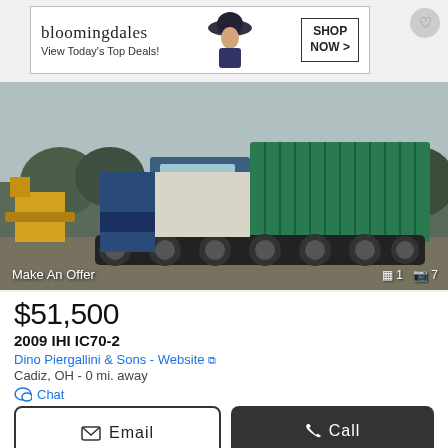[Figure (photo): Bloomingdales advertisement banner with logo, 'View Today's Top Deals!' text, woman in hat, and 'SHOP NOW >' button]
[Figure (photo): A 2009 IHI IC70-2 tracked carrier vehicle photographed outdoors at a dealer lot, with green cargo body visible and other heavy equipment in background]
Make An Offer
▣ 1   📷 7
$51,500
2009 IHI IC70-2
Dino Piergallini & Sons - Website
Cadiz, OH - 0 mi. away
Chat
Email
Call
Video chat with this dealer